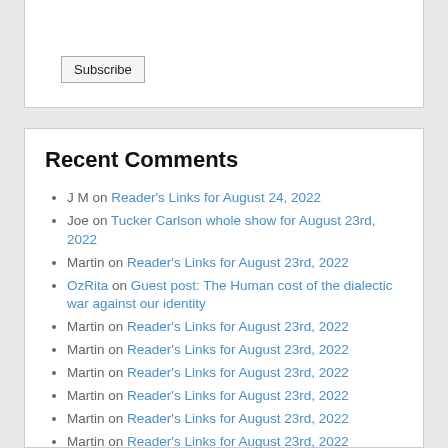Subscribe
Recent Comments
J M on Reader's Links for August 24, 2022
Joe on Tucker Carlson whole show for August 23rd, 2022
Martin on Reader's Links for August 23rd, 2022
OzRita on Guest post: The Human cost of the dialectic war against our identity
Martin on Reader's Links for August 23rd, 2022
Martin on Reader's Links for August 23rd, 2022
Martin on Reader's Links for August 23rd, 2022
Martin on Reader's Links for August 23rd, 2022
Martin on Reader's Links for August 23rd, 2022
Martin on Reader's Links for August 23rd, 2022
Martin on Reader's Links for August 23rd, 2022